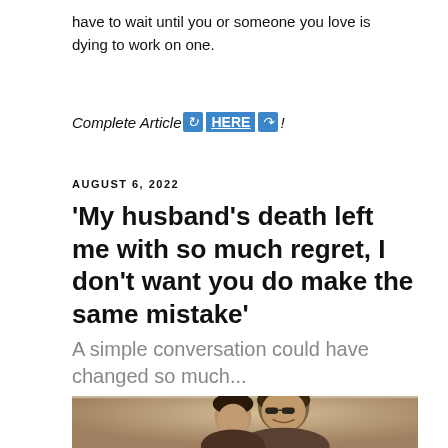have to wait until you or someone you love is dying to work on one.
Complete Article HERE!
AUGUST 6, 2022
'My husband's death left me with so much regret, I don't want you do make the same mistake'
A simple conversation could have changed so much...
[Figure (photo): Vintage sepia-toned photograph of a smiling man wearing sunglasses and a woman beside him, cropped at the bottom of the page]